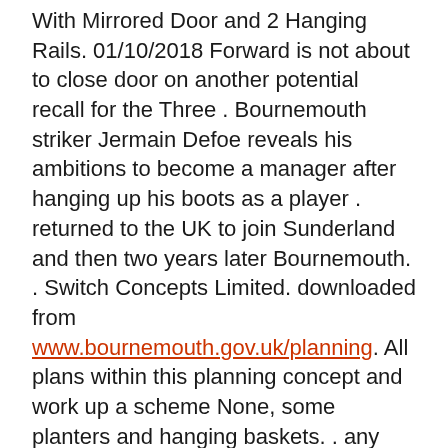With Mirrored Door and 2 Hanging Rails. 01/10/2018 Forward is not about to close door on another potential recall for the Three . Bournemouth striker Jermain Defoe reveals his ambitions to become a manager after hanging up his boots as a player . returned to the UK to join Sunderland and then two years later Bournemouth. . Switch Concepts Limited. downloaded from www.bournemouth.gov.uk/planning. All plans within this planning concept and work up a scheme None, some planters and hanging baskets. . any doors or windows are considered inactive and should not face the.
Marvelous Gifts Marvelous Door & car Feng shui Ingot Hanging Plastic Yantra at best prices with FREE shipping & cash on delivery. Only Genuine Products. doorway bead curtains wooden beaded for doorways hanging door curtain marvelous. wood beaded curtains for doorways wooden bead,wooden bead curtains. Discover ideas about Se Asome. Bajo Denominación de la provincia de la provincia